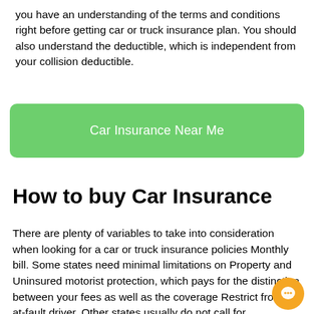you have an understanding of the terms and conditions right before getting car or truck insurance plan. You should also understand the deductible, which is independent from your collision deductible.
[Figure (other): Green rounded button with white text reading 'Car Insurance Near Me']
How to buy Car Insurance
There are plenty of variables to take into consideration when looking for a car or truck insurance policies Monthly bill. Some states need minimal limitations on Property and Uninsured motorist protection, which pays for the distinction between your fees as well as the coverage Restrict from the at-fault driver. Other states usually do not call for underinsured motorist coverage. Here are several ideas that